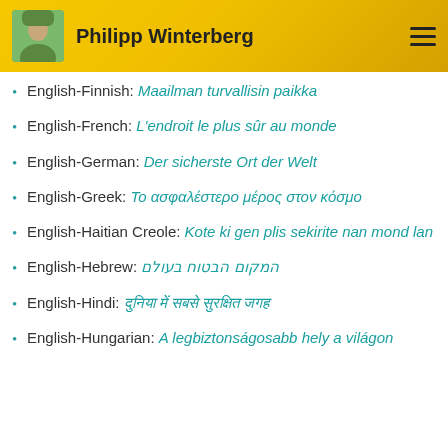Philipp Winterberg
English-Finnish: Maailman turvallisin paikka
English-French: L'endroit le plus sûr au monde
English-German: Der sicherste Ort der Welt
English-Greek: Το ασφαλέστερο μέρος στον κόσμο
English-Haitian Creole: Kote ki gen plis sekirite nan mond lan
English-Hebrew: המקום הבטוח בעולם
English-Hindi: दुनिया में सबसे सुरक्षित जगह
English-Hungarian: A legbiztonságosabb hely a világon